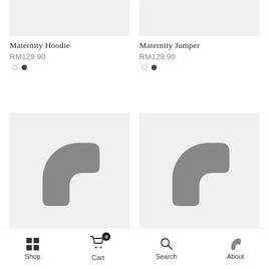[Figure (screenshot): Top half of a mobile e-commerce product listing page showing two product cards partially cropped at top. Left card: Maternity Hoodie RM129.90. Right card: Maternity Jumper RM129.90. Each with dot pagination indicators.]
Maternity Hoodie
RM129.90
Maternity Jumper
RM129.90
[Figure (photo): Loading spinner/placeholder image for product below Maternity Hoodie]
[Figure (photo): Loading spinner/placeholder image for product below Maternity Jumper]
Shop   Cart 0   Search   About